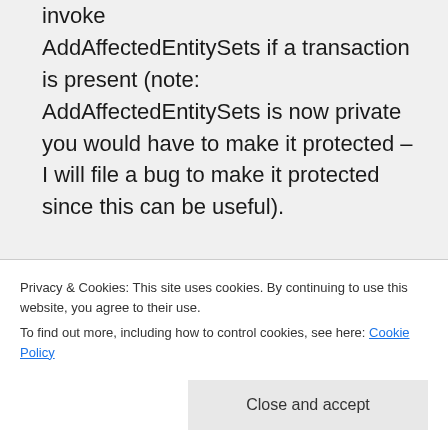invoke AddAffectedEntitySets if a transaction is present (note: AddAffectedEntitySets is now private you would have to make it protected – I will file a bug to make it protected since this can be useful). Another thing you could try is to derive from or wrap
Privacy & Cookies: This site uses cookies. By continuing to use this website, you agree to their use. To find out more, including how to control cookies, see here: Cookie Policy